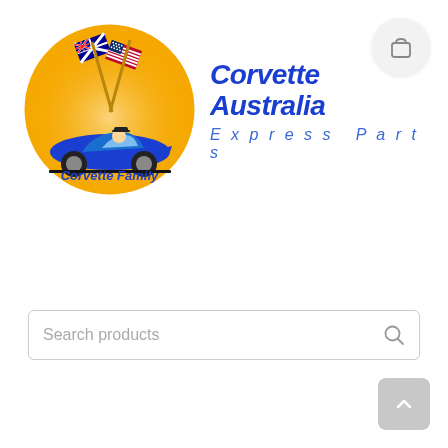[Figure (logo): Corvette Family circular logo with orange background, Australian and American flags crossed, blue Corvette car with driver, text 'Corvette Family' at bottom]
Corvette Australia Express Parts
[Figure (other): Shopping cart icon in a circular grey button, top right corner]
Search products
[Figure (other): Scroll to top button, grey rounded square, bottom right corner]